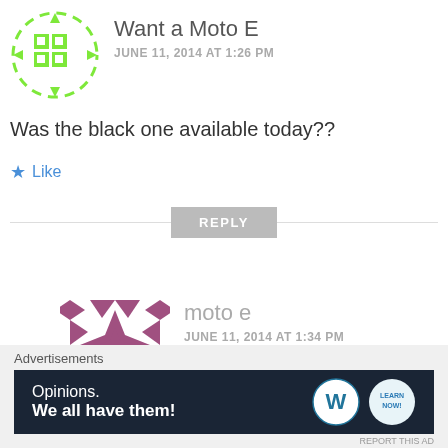[Figure (illustration): Green pixel/grid avatar icon in a circular dashed border]
Want a Moto E
JUNE 11, 2014 AT 1:26 PM
Was the black one available today??
★ Like
REPLY
[Figure (illustration): Purple geometric/quilt pattern avatar icon]
moto e
JUNE 11, 2014 AT 1:34 PM
Advertisements
Opinions. We all have them!